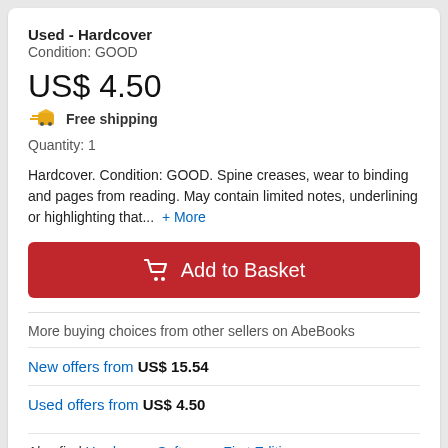Used - Hardcover
Condition: GOOD
US$ 4.50
Free shipping
Quantity: 1
Hardcover. Condition: GOOD. Spine creases, wear to binding and pages from reading. May contain limited notes, underlining or highlighting that...  + More
Add to Basket
More buying choices from other sellers on AbeBooks
New offers from US$ 15.54
Used offers from US$ 4.50
Also find Hardcover, Softcover, First Edition
Dog Daze of Summer: Dog Tail Detective Series